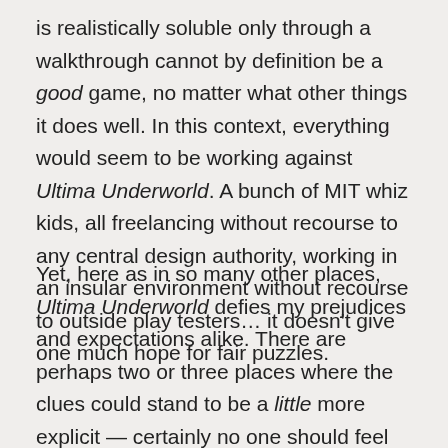is realistically soluble only through a walkthrough cannot by definition be a good game, no matter what other things it does well. In this context, everything would seem to be working against Ultima Underworld. A bunch of MIT whiz kids, all freelancing without recourse to any central design authority, working in an insular environment without recourse to outside play testers… it doesn't give one much hope for fair puzzles.
Yet, here as in so many other places, Ultima Underworld defies my prejudices and expectations alike. There are perhaps two or three places where the clues could stand to be a little more explicit — certainly no one should feel ashamed to peek at a walkthrough when playing — but there are no egregious howlers here. Take careful notes, take your time, and follow up diligently on all of the clues, and there's no reason that you can't solve this one for